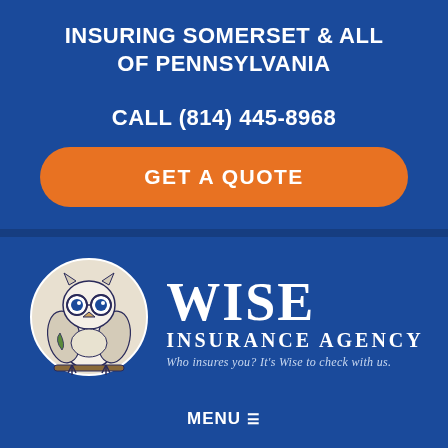INSURING SOMERSET & ALL OF PENNSYLVANIA
CALL (814) 445-8968
GET A QUOTE
[Figure (logo): Wise Insurance Agency logo: owl mascot in a circle on the left, large text 'WISE' and 'INSURANCE AGENCY' on the right, tagline 'Who insures you? It's Wise to check with us.']
MENU